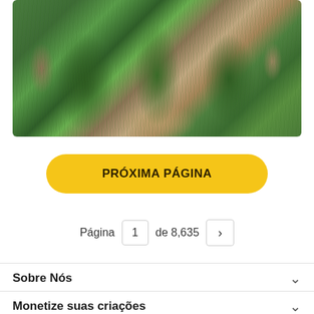[Figure (photo): Photograph of palm/yucca-like plants with spiky green fronds in a garden with stone paving]
PRÓXIMA PÁGINA
Página 1 de 8,635 >
Sobre Nós
Monetize suas criações